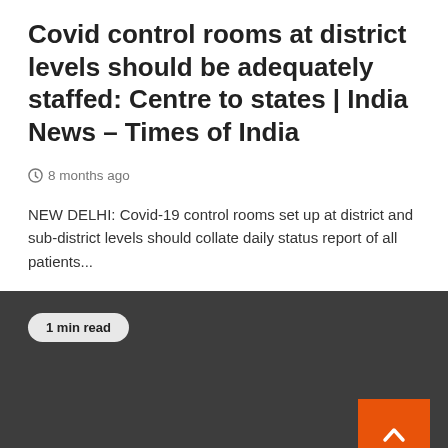Covid control rooms at district levels should be adequately staffed: Centre to states | India News – Times of India
8 months ago
NEW DELHI: Covid-19 control rooms set up at district and sub-district levels should collate daily status report of all patients...
[Figure (screenshot): Dark gray background section with '1 min read' badge in top-left and an orange scroll-to-top button with caret/arrow in bottom-right corner]